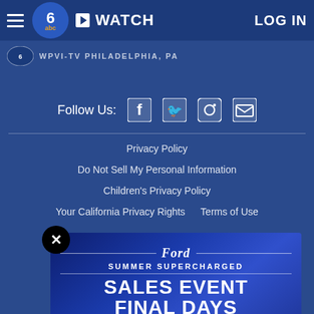☰  [6abc logo]  ▶ WATCH  LOG IN
WPVI-TV  PHILADELPHIA, PA
Follow Us:
Privacy Policy
Do Not Sell My Personal Information
Children's Privacy Policy
Your California Privacy Rights    Terms of Use
[Figure (advertisement): Ford Summer Supercharged Sales Event Final Days - Learn More advertisement banner with close button overlay]